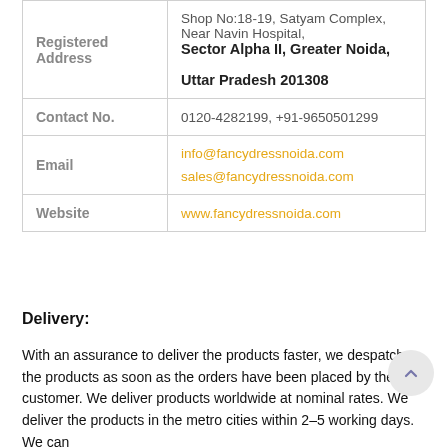| Field | Value |
| --- | --- |
| Registered Address | Shop No:18-19, Satyam Complex, Near Navin Hospital, Sector Alpha II, Greater Noida, Uttar Pradesh 201308 |
| Contact No. | 0120-4282199, +91-9650501299 |
| Email | info@fancydressnoida.com
sales@fancydressnoida.com |
| Website | www.fancydressnoida.com |
Delivery:
With an assurance to deliver the products faster, we despatch the products as soon as the orders have been placed by the customer. We deliver products worldwide at nominal rates. We deliver the products in the metro cities within 2–5 working days. We can